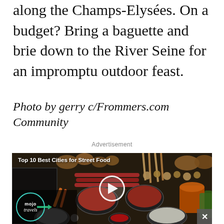along the Champs-Elysées. On a budget? Bring a baguette and brie down to the River Seine for an impromptu outdoor feast.
Photo by gerry c/Frommers.com Community
Advertisement
[Figure (photo): A video thumbnail showing a street food market stall with various foods, sauces, and ingredients. Overlaid text reads 'Top 10 Best Cities for Street Food'. A play button circle is centered on the image. The Mojo Travels logo appears in the bottom-left corner with a teal circle outline, and a close (X) button appears in the bottom-right.]